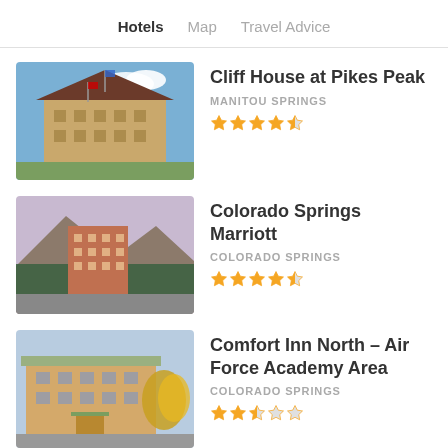Hotels  Map  Travel Advice
Cliff House at Pikes Peak
MANITOU SPRINGS
★★★★☆
Colorado Springs Marriott
COLORADO SPRINGS
★★★★☆
Comfort Inn North - Air Force Academy Area
COLORADO SPRINGS
★★½☆☆